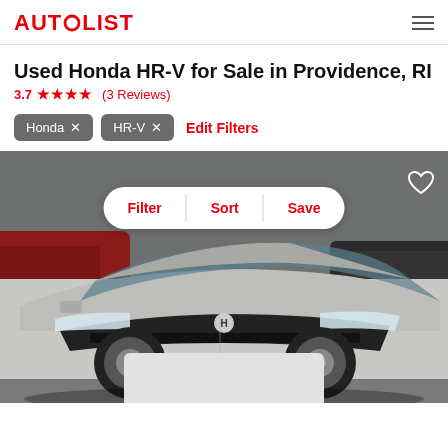AUTOLIST
Used Honda HR-V for Sale in Providence, RI
3.7 ★★★★ (3 Reviews)
Honda ×
HR-V ×
Edit Filters
[Figure (photo): Honda HR-V silver SUV front view in a parking lot with Filter, Sort, Save pill button overlay and heart icon]
Filter | Sort | Save